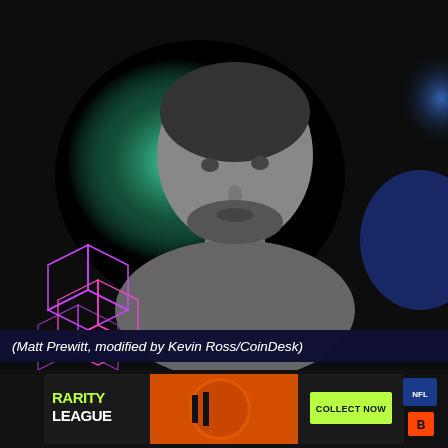[Figure (photo): Black and white portrait photo of Matt Prewitt against a dark background with green and blue abstract blob shapes. Purple wireframe cube graphics in the lower left corner.]
(Matt Prewitt, modified by Kevin Ross/CoinDesk)
[Figure (infographic): Rarity League advertisement banner with orange football helmet graphic, green RARITY LEAGUE logo text, COLLECT NOW button, NFL logo and Cincinnati Bengals logo.]